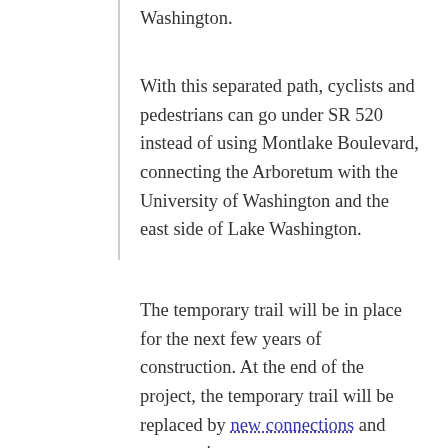Washington.
With this separated path, cyclists and pedestrians can go under SR 520 instead of using Montlake Boulevard, connecting the Arboretum with the University of Washington and the east side of Lake Washington.
The temporary trail will be in place for the next few years of construction. At the end of the project, the temporary trail will be replaced by new connections and route options.
Facebook Twitter Reddit Pocket Email
Related Stories